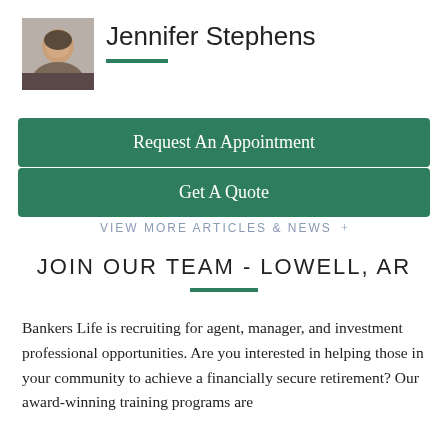[Figure (photo): Headshot photo of Jennifer Stephens]
Jennifer Stephens
Request An Appointment
Get A Quote
VIEW MORE ARTICLES & NEWS
JOIN OUR TEAM - LOWELL, AR
Bankers Life is recruiting for agent, manager, and investment professional opportunities. Are you interested in helping those in your community to achieve a financially secure retirement? Our award-winning training programs are